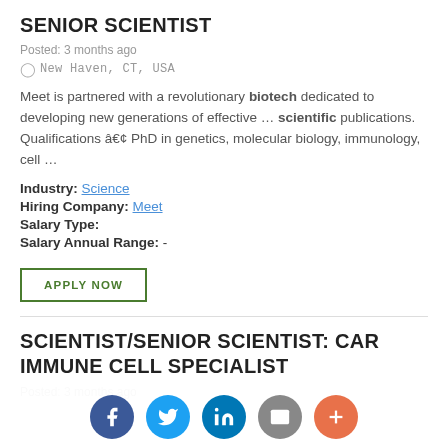SENIOR SCIENTIST
Posted: 3 months ago
New Haven, CT, USA
Meet is partnered with a revolutionary biotech dedicated to developing new generations of effective … scientific publications. Qualifications â€¢ PhD in genetics, molecular biology, immunology, cell …
Industry: Science
Hiring Company: Meet
Salary Type:
Salary Annual Range: -
APPLY NOW
SCIENTIST/SENIOR SCIENTIST: CAR IMMUNE CELL SPECIALIST
Posted: 3 months ago
Social share buttons: Facebook, Twitter, LinkedIn, Email, More